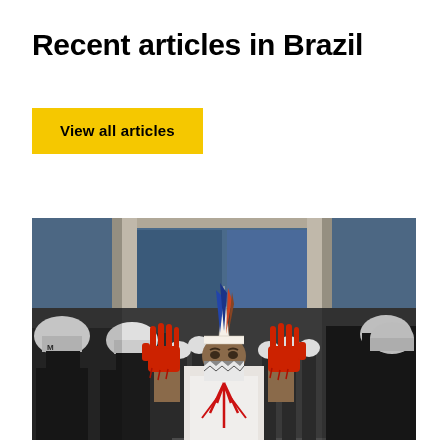Recent articles in Brazil
View all articles
[Figure (photo): An Indigenous person wearing a traditional feathered headdress and patterned face mask, with red paint on both raised hands and red markings on a white t-shirt, standing in front of a group of riot police in helmets and black uniforms, in front of a building with large glass windows.]